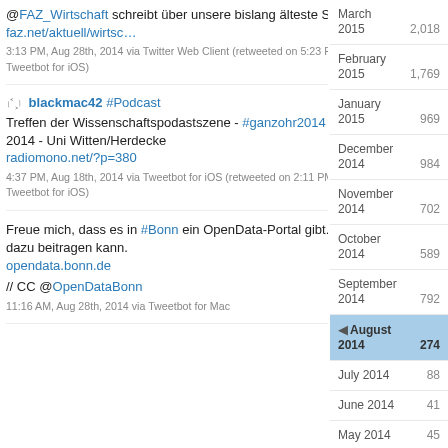@FAZ_Wirtschaft schreibt über unsere bislang älteste Starterin faz.net/aktuell/wirtsc…
3:13 PM, Aug 28th, 2014 via Twitter Web Client (retweeted on 5:23 PM, Aug 28th, 2014 via Tweetbot for iOS)
blackmac42 #Podcast Treffen der Wissenschaftspodastszene - #ganzohr2014 - Freitag, 03. Oktober 2014 - Uni Witten/Herdecke radiomono.net/?p=380
4:37 PM, Aug 18th, 2014 via Tweetbot for iOS (retweeted on 2:11 PM, Aug 28th, 2014 via Tweetbot for iOS)
Freue mich, dass es in #Bonn ein OpenData-Portal gibt. Mal schauen, was ich dazu beitragen kann. opendata.bonn.de // CC @OpenDataBonn
11:16 AM, Aug 28th, 2014 via Tweetbot for Mac
March 2015 2,018
February 2015 1,769
January 2015 969
December 2014 984
November 2014 702
October 2014 589
September 2014 792
August 2014 274
July 2014 88
June 2014 41
May 2014 45
April 2014 45
March